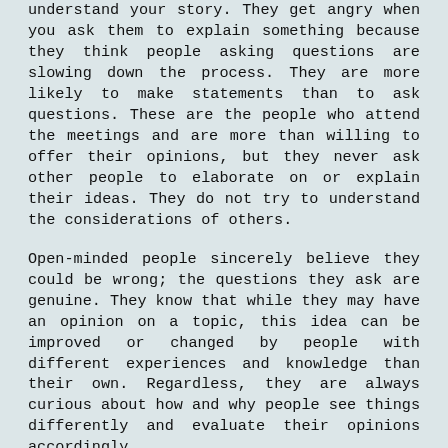understand your story. They get angry when you ask them to explain something because they think people asking questions are slowing down the process. They are more likely to make statements than to ask questions. These are the people who attend the meetings and are more than willing to offer their opinions, but they never ask other people to elaborate on or explain their ideas. They do not try to understand the considerations of others.
Open-minded people sincerely believe they could be wrong; the questions they ask are genuine. They know that while they may have an opinion on a topic, this idea can be improved or changed by people with different experiences and knowledge than their own. Regardless, they are always curious about how and why people see things differently and evaluate their opinions accordingly.
Open-minded people feel compelled to see things through the eyes of others and are more and more interested in listening than in speaking.